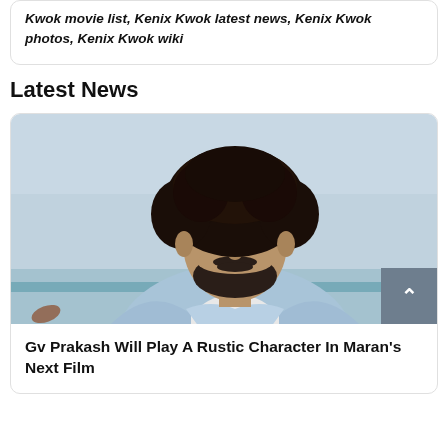Kwok movie list, Kenix Kwok latest news, Kenix Kwok photos, Kenix Kwok wiki
Latest News
[Figure (photo): Young man with curly dark hair and beard wearing a light blue denim jacket over a white t-shirt, looking to the side, outdoor background]
Gv Prakash Will Play A Rustic Character In Maran's Next Film